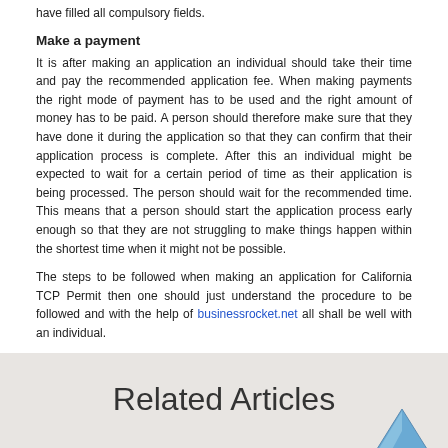have filled all compulsory fields.
Make a payment
It is after making an application an individual should take their time and pay the recommended application fee. When making payments the right mode of payment has to be used and the right amount of money has to be paid. A person should therefore make sure that they have done it during the application so that they can confirm that their application process is complete. After this an individual might be expected to wait for a certain period of time as their application is being processed. The person should wait for the recommended time. This means that a person should start the application process early enough so that they are not struggling to make things happen within the shortest time when it might not be possible.
The steps to be followed when making an application for California TCP Permit then one should just understand the procedure to be followed and with the help of businessrocket.net all shall be well with an individual.
Related Articles
[Figure (illustration): Blue upward arrow icon with dotted base, indicating scroll to top or upload action]